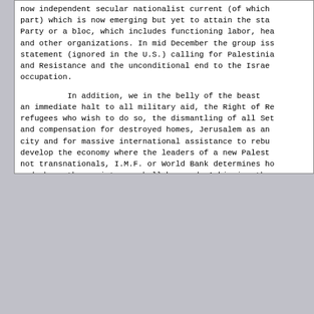now independent secular nationalist current (of which part) which is now emerging but yet to attain the sta Party or a bloc, which includes functioning labor, hea and other organizations. In mid December the group iss statement (ignored in the U.S.) calling for Palestinia and Resistance and the unconditional end to the Israe occupation.
In addition, we in the belly of the beast an immediate halt to all military aid, the Right of Re refugees who wish to do so, the dismantling of all Set and compensation for destroyed homes, Jerusalem as an city and for massive international assistance to rebu develop the economy where the leaders of a new Palest not transnationals, I.M.F. or World Bank determines ho and where the assistance shall be used. Achieving thes are crucial to the liberation of the Palestinian peop
Top of Message | Previous Page | Permalink